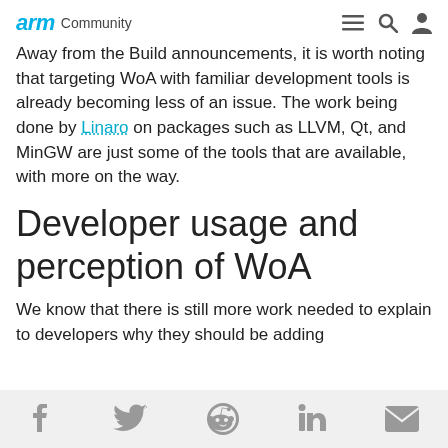arm Community
Away from the Build announcements, it is worth noting that targeting WoA with familiar development tools is already becoming less of an issue. The work being done by Linaro on packages such as LLVM, Qt, and MinGW are just some of the tools that are available, with more on the way.
Developer usage and perception of WoA
We know that there is still more work needed to explain to developers why they should be adding
Social share icons: Facebook, Twitter, Reddit, LinkedIn, Email